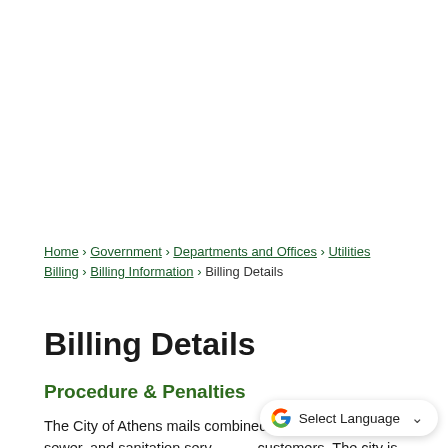Home › Government › Departments and Offices › Utilities Billing › Billing Information › Billing Details
Billing Details
Procedure & Penalties
The City of Athens mails combined utility bills for water, sewer, and sanitation serv… customers. The city is divided into four cycles.